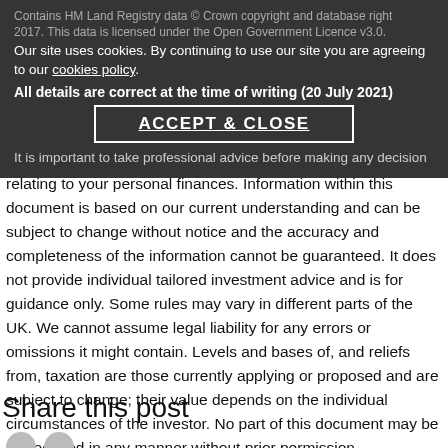Contains HM Land Registry data © Crown copyright and database right 2017. This data is licensed under the Open Government Licence v3.0.
Our site uses cookies. By continuing to use our site you are agreeing to our cookies policy.
All details are correct at the time of writing (20 July 2021)
ACCEPT & CLOSE
It is important to take professional advice before making any decision relating to your personal finances. Information within this document is based on our current understanding and can be subject to change without notice and the accuracy and completeness of the information cannot be guaranteed. It does not provide individual tailored investment advice and is for guidance only. Some rules may vary in different parts of the UK. We cannot assume legal liability for any errors or omissions it might contain. Levels and bases of, and reliefs from, taxation are those currently applying or proposed and are subject to change; their value depends on the individual circumstances of the investor. No part of this document may be reproduced in any manner without prior permission.
Share this post